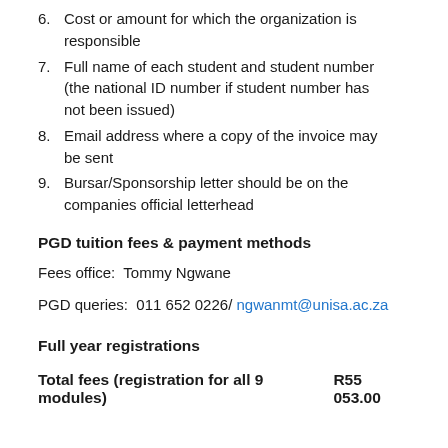6. Cost or amount for which the organization is responsible
7. Full name of each student and student number (the national ID number if student number has not been issued)
8. Email address where a copy of the invoice may be sent
9. Bursar/Sponsorship letter should be on the companies official letterhead
PGD tuition fees & payment methods
Fees office:  Tommy Ngwane
PGD queries:  011 652 0226/ ngwanmt@unisa.ac.za
Full year registrations
Total fees (registration for all 9 modules)    R55 053.00